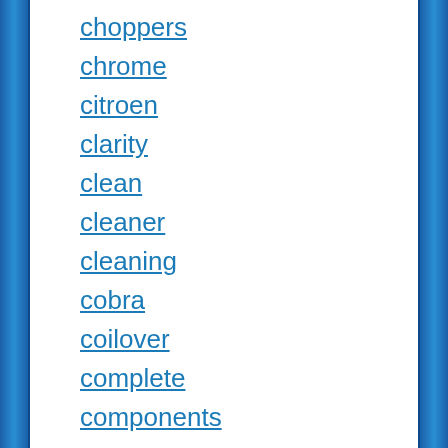choppers
chrome
citroen
clarity
clean
cleaner
cleaning
cobra
coilover
complete
components
cooper
cover
crank